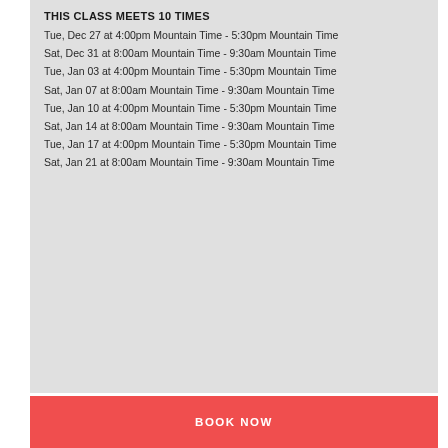THIS CLASS MEETS 10 TIMES
Tue, Dec 27 at 4:00pm Mountain Time - 5:30pm Mountain Time
Sat, Dec 31 at 8:00am Mountain Time - 9:30am Mountain Time
Tue, Jan 03 at 4:00pm Mountain Time - 5:30pm Mountain Time
Sat, Jan 07 at 8:00am Mountain Time - 9:30am Mountain Time
Tue, Jan 10 at 4:00pm Mountain Time - 5:30pm Mountain Time
Sat, Jan 14 at 8:00am Mountain Time - 9:30am Mountain Time
Tue, Jan 17 at 4:00pm Mountain Time - 5:30pm Mountain Time
Sat, Jan 21 at 8:00am Mountain Time - 9:30am Mountain Time
BOOK NOW